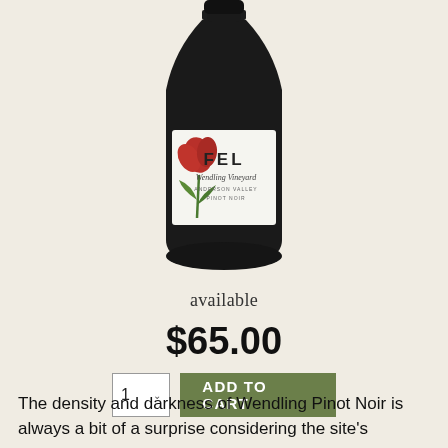[Figure (photo): A dark wine bottle with a white label featuring the FEL brand logo, a red tulip illustration, and text reading 'Wendling Vineyard, Anderson Valley, Pinot Noir']
available
$65.00
ADD TO CART
The density and darkness of Wendling Pinot Noir is always a bit of a surprise considering the site's